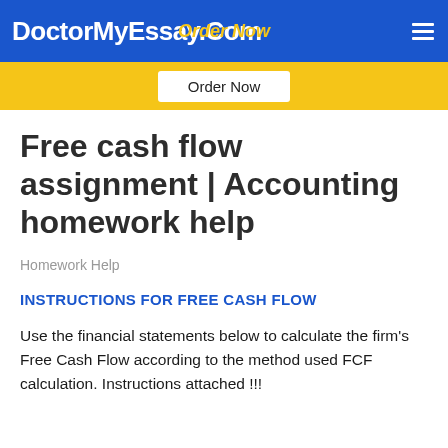DoctorMyEssay.Com  Order Now
Order Now
Free cash flow assignment | Accounting homework help
Homework Help
INSTRUCTIONS FOR FREE CASH FLOW
Use the financial statements below to calculate the firm's Free Cash Flow according to the method used FCF calculation. Instructions attached !!!